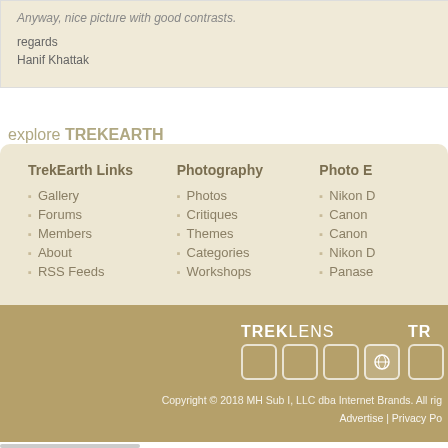Anyway, nice picture with good contrasts.
regards
Hanif Khattak
explore TREKEARTH
Gallery
Forums
Members
About
RSS Feeds
Photos
Critiques
Themes
Categories
Workshops
Nikon D
Canon
Canon
Nikon D
Panase
[Figure (logo): TREKLENS logo with icon boxes and partial TR logo]
Copyright © 2018 MH Sub I, LLC dba Internet Brands. All rig
Advertise | Privacy Po